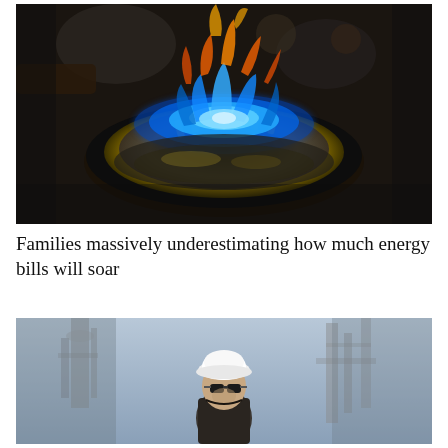[Figure (photo): Close-up photograph of a gas stove burner with blue and orange flames burning against a dark background]
Families massively underestimating how much energy bills will soar
[Figure (photo): Worker in a white hard hat and sunglasses standing in front of industrial pipes or equipment at an energy facility]